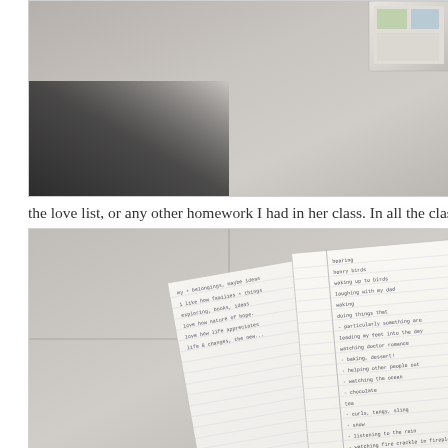[Figure (photo): Top portion of a photograph showing a notebook or journal on a textured surface, partially out of frame. A small colorful item is visible in the top right corner.]
the love list, or any other homework I had in her class. In all the classes I had this
[Figure (photo): Photograph of an open notebook/journal lying on a wooden floor, showing handwritten lists on gridded pages. The handwriting is in ink and includes various items on what appears to be a 'love list'.]